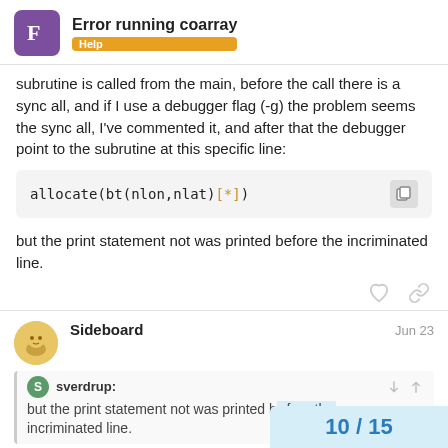Error running coarray — Help
subrutine is called from the main, before the call there is a sync all, and if I use a debugger flag (-g) the problem seems the sync all, I've commented it, and after that the debugger point to the subrutine at this specific line:
but the print statement not was printed before the incriminated line.
Sideboard — Jun 23
sverdrup: but the print statement not was printed before the incriminated line.
10 / 15